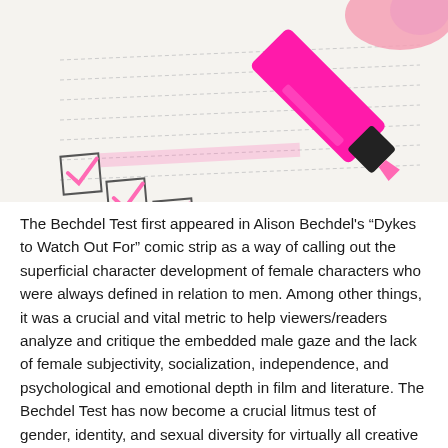[Figure (photo): Close-up photo of a pink highlighter/marker checking boxes on a checklist. The checkboxes are arranged in a grid pattern on white paper, with pink check marks visible. The marker is held by a hand in the upper right corner.]
The Bechdel Test first appeared in Alison Bechdel's “Dykes to Watch Out For” comic strip as a way of calling out the superficial character development of female characters who were always defined in relation to men. Among other things, it was a crucial and vital metric to help viewers/readers analyze and critique the embedded male gaze and the lack of female subjectivity, socialization, independence, and psychological and emotional depth in film and literature. The Bechdel Test has now become a crucial litmus test of gender, identity, and sexual diversity for virtually all creative work. APIA literature by nature is a robust,